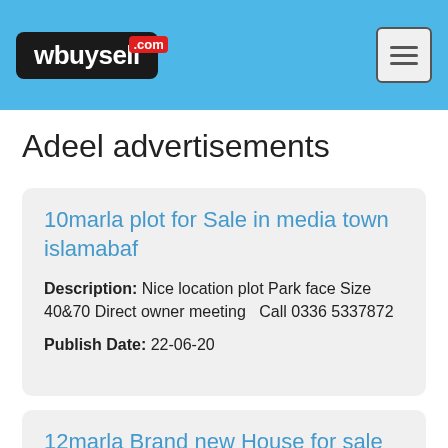wbuysell.com
Adeel advertisements
10marla plot for Sale in media town islamabaf
Description: Nice location plot Park face Size 40&70 Direct owner meeting  Call 0336 5337872
Publish Date: 22-06-20
12marla Brand new House for sale in media town islamabad
Description: 12marla Brand new House for sale in media town islamabad. Nice location house 5Bed 7Bath 2kichten